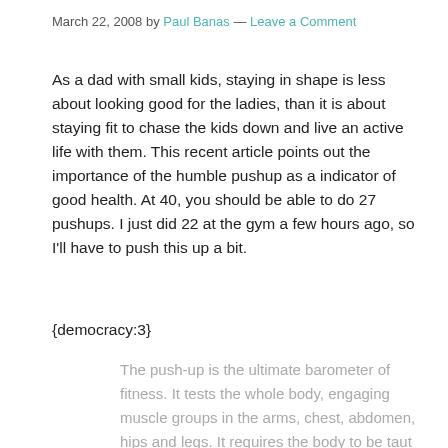March 22, 2008 by Paul Banas — Leave a Comment
As a dad with small kids, staying in shape is less about looking good for the ladies, than it is about staying fit to chase the kids down and live an active life with them. This recent article points out the importance of the humble pushup as a indicator of good health. At 40, you should be able to do 27 pushups. I just did 22 at the gym a few hours ago, so I'll have to push this up a bit.
{democracy:3}
The push-up is the ultimate barometer of fitness. It tests the whole body, engaging muscle groups in the arms, chest, abdomen, hips and legs. It requires the body to be taut like a plank with toes and palms on the floor.